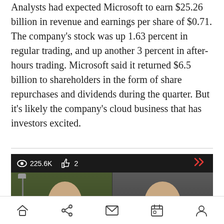Analysts had expected Microsoft to earn $25.26 billion in revenue and earnings per share of $0.71. The company's stock was up 1.63 percent in regular trading, and up another 3 percent in after-hours trading. Microsoft said it returned $6.5 billion to shareholders in the form of share repurchases and dividends during the quarter. But it's likely the company's cloud business that has investors excited.
[Figure (screenshot): Video player thumbnail showing two bald men in a split-screen view, with a view count of 225.6K and 2 likes displayed in a dark toolbar at the top.]